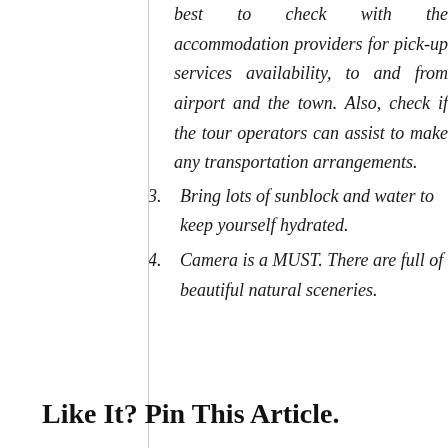best to check with the accommodation providers for pick-up services availability, to and from airport and the town. Also, check if the tour operators can assist to make any transportation arrangements.
3. Bring lots of sunblock and water to keep yourself hydrated.
4. Camera is a MUST. There are full of beautiful natural sceneries.
Like It? Pin This Article.